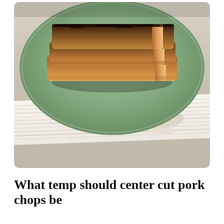[Figure (photo): Close-up photo of stacked seasoned pork chops on a sage green plate, sitting on a folded striped cloth napkin on a light wood surface]
What temp should center cut pork chops be